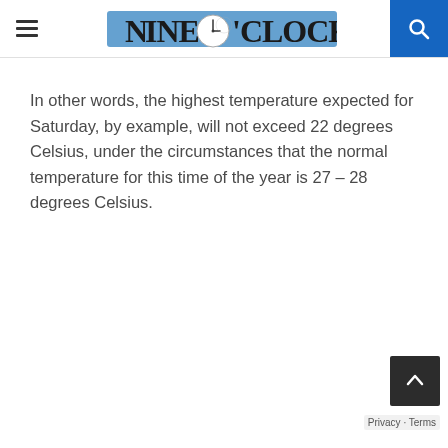Nine O'Clock - newspaper logo header with hamburger menu and search button
In other words, the highest temperature expected for Saturday, by example, will not exceed 22 degrees Celsius, under the circumstances that the normal temperature for this time of the year is 27 – 28 degrees Celsius.